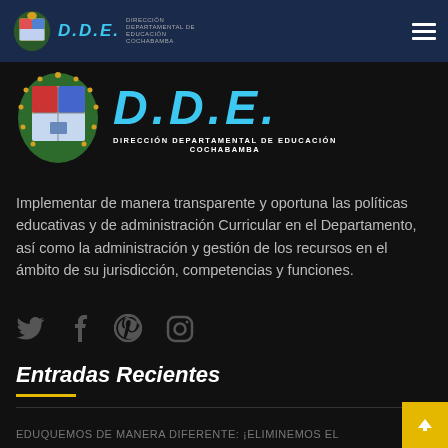D.D.E. - Dirección Departamental de Educación Cochabamba - Navigation bar
[Figure (logo): DDE Dirección Departamental de Educación Cochabamba logo with coat of arms and D.D.E. text in light blue]
Implementar de manera transparente y oportuna las políticas educativas y de administración Curricular en el Departamento, así como la administración y gestión de los recursos en el ámbito de su jurisdicción, competencias y funciones.
[Figure (infographic): Social media icons: Twitter, Facebook, Pinterest, Instagram]
Entradas Recientes
EDUQUEMOS DE MANERA DIFERENTE: ¡ELIMINEMOS EL